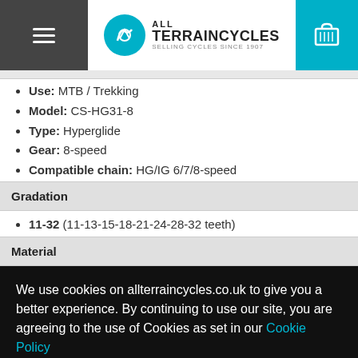All Terrain Cycles — Selling Cycles Since 1907
Use: MTB / Trekking
Model: CS-HG31-8
Type: Hyperglide
Gear: 8-speed
Compatible chain: HG/IG 6/7/8-speed
Gradation
11-32 (11-13-15-18-21-24-28-32 teeth)
Material
We use cookies on allterraincycles.co.uk to give you a better experience. By continuing to use our site, you are agreeing to the use of Cookies as set in our Cookie Policy
ACCEPT